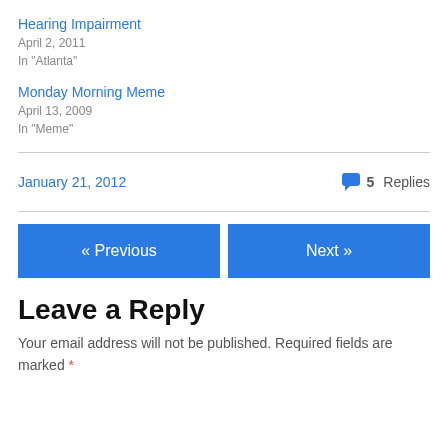Hearing Impairment
April 2, 2011
In "Atlanta"
Monday Morning Meme
April 13, 2009
In "Meme"
January 21, 2012   5 Replies
« Previous
Next »
Leave a Reply
Your email address will not be published. Required fields are marked *